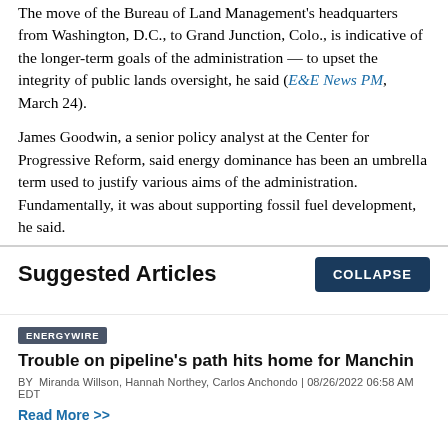The move of the Bureau of Land Management's headquarters from Washington, D.C., to Grand Junction, Colo., is indicative of the longer-term goals of the administration — to upset the integrity of public lands oversight, he said (E&E News PM, March 24).
James Goodwin, a senior policy analyst at the Center for Progressive Reform, said energy dominance has been an umbrella term used to justify various aims of the administration. Fundamentally, it was about supporting fossil fuel development, he said.
Suggested Articles
ENERGYWIRE
Trouble on pipeline's path hits home for Manchin
BY Miranda Willson, Hannah Northey, Carlos Anchondo | 08/26/2022 06:58 AM EDT
Read More >>
ENERGYWIRE
Gulf shrimpers brace for offshore wind